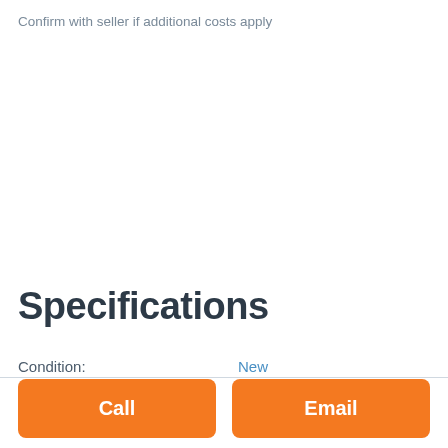Confirm with seller if additional costs apply
Specifications
Condition: New
Category: Metal Guillotine